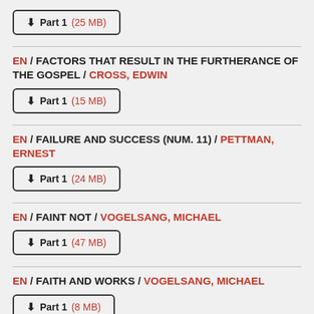⬇ Part 1 (25 MB)
EN / FACTORS THAT RESULT IN THE FURTHERANCE OF THE GOSPEL / CROSS, EDWIN
⬇ Part 1 (15 MB)
EN / FAILURE AND SUCCESS (NUM. 11) / PETTMAN, ERNEST
⬇ Part 1 (24 MB)
EN / FAINT NOT / VOGELSANG, MICHAEL
⬇ Part 1 (47 MB)
EN / FAITH AND WORKS / VOGELSANG, MICHAEL
⬇ Part 1 (8 MB)